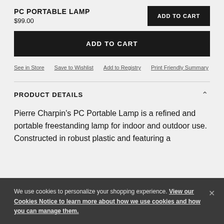PC PORTABLE LAMP
$99.00
ADD TO CART
ADD TO CART
See in Store  Save to Wishlist  Add to Registry  Print Friendly Summary
PRODUCT DETAILS
Pierre Charpin's PC Portable Lamp is a refined and portable freestanding lamp for indoor and outdoor use. Constructed in robust plastic and featuring a
We use cookies to personalize your shopping experience. View our Cookies Notice to learn more about how we use cookies and how you can manage them.